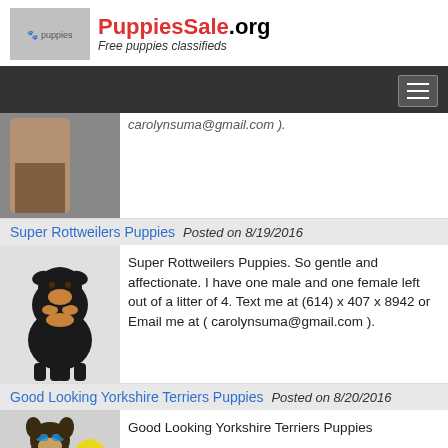PuppiesSale.org — Free puppies classifieds
[Figure (photo): Partial puppy listing with truncated email text carolynsuma@gmail.com]
Super Rottweilers Puppies Posted on 8/19/2016
[Figure (photo): Rottweiler puppy sitting, black and tan, on white background]
Super Rottweilers Puppies. So gentle and affectionate. I have one male and one female left out of a litter of 4. Text me at (614) x 407 x 8942 or Email me at ( carolynsuma@gmail.com ).
Good Looking Yorkshire Terriers Puppies Posted on 8/20/2016
[Figure (photo): Yorkshire Terrier puppy with sunglasses and a yellow ball]
Good Looking Yorkshire Terriers Puppies